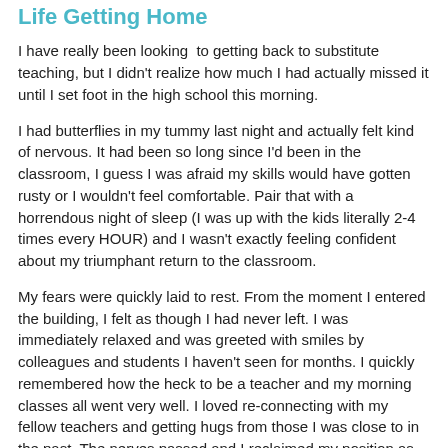Life Getting Home
I have really been looking  to getting back to substitute teaching, but I didn't realize how much I had actually missed it until I set foot in the high school this morning.
I had butterflies in my tummy last night and actually felt kind of nervous. It had been so long since I'd been in the classroom, I guess I was afraid my skills would have gotten rusty or I wouldn't feel comfortable. Pair that with a horrendous night of sleep (I was up with the kids literally 2-4 times every HOUR) and I wasn't exactly feeling confident about my triumphant return to the classroom.
My fears were quickly laid to rest. From the moment I entered the building, I felt as though I had never left. I was immediately relaxed and was greeted with smiles by colleagues and students I haven't seen for months. I quickly remembered how the heck to be a teacher and my morning classes all went very well. I loved re-connecting with my fellow teachers and getting hugs from those I was close to in the past. The nerves passed and I reclaimed my position as